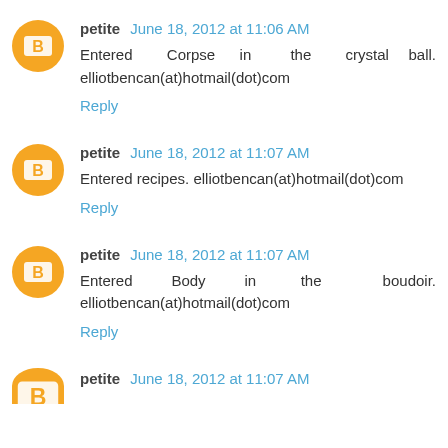petite June 18, 2012 at 11:06 AM
Entered Corpse in the crystal ball. elliotbencan(at)hotmail(dot)com
Reply
petite June 18, 2012 at 11:07 AM
Entered recipes. elliotbencan(at)hotmail(dot)com
Reply
petite June 18, 2012 at 11:07 AM
Entered Body in the boudoir. elliotbencan(at)hotmail(dot)com
Reply
petite June 18, 2012 at 11:07 AM